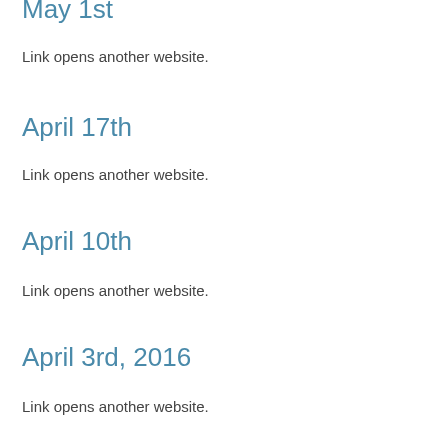May 1st
Link opens another website.
April 17th
Link opens another website.
April 10th
Link opens another website.
April 3rd, 2016
Link opens another website.